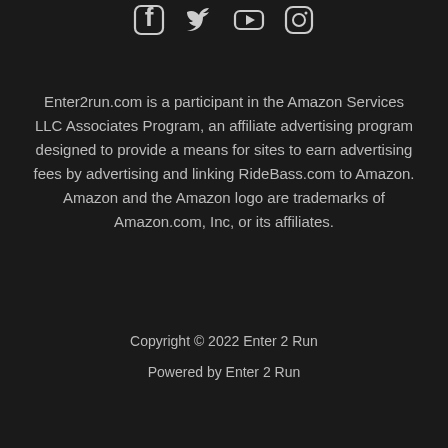[Figure (other): Social media icons row: Facebook, Twitter, YouTube, Instagram]
Enter2run.com is a participant in the Amazon Services LLC Associates Program, an affiliate advertising program designed to provide a means for sites to earn advertising fees by advertising and linking RideBass.com to Amazon. Amazon and the Amazon logo are trademarks of Amazon.com, Inc, or its affiliates.
Copyright © 2022 Enter 2 Run
Powered by Enter 2 Run